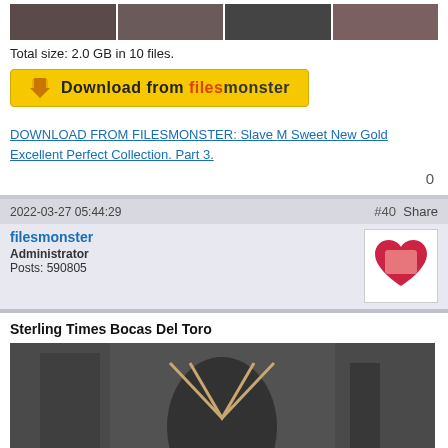[Figure (photo): Thumbnail strip of photos]
Total size: 2.0 GB in 10 files.
[Figure (other): Download from filesmonster button]
DOWNLOAD FROM FILESMONSTER: Slave M Sweet New Gold Excellent Perfect Collection. Part 3.
0
2022-03-27 05:44:29
#40  Share
filesmonster
Administrator
Posts: 590805
[Figure (photo): Avatar image with heart shape]
Sterling Times Bocas Del Toro
[Figure (photo): Main content image showing bondage scene]